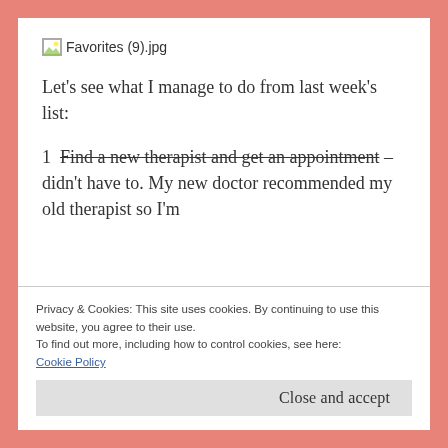[Figure (photo): Broken image placeholder labeled Favorites (9).jpg]
Let's see what I manage to do from last week's list:
1  Find a new therapist and get an appointment – didn't have to. My new doctor recommended my old therapist so I'm
Privacy & Cookies: This site uses cookies. By continuing to use this website, you agree to their use.
To find out more, including how to control cookies, see here:
Cookie Policy
Close and accept